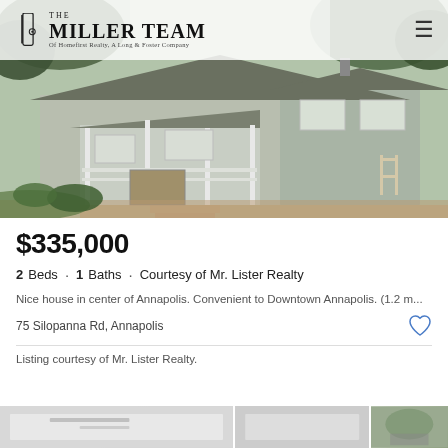[Figure (photo): Exterior photo of a ranch-style house with front porch, white railings, gray/blue siding, brick driveway, and green trees in background]
$335,000
2 Beds  ·  1 Baths  ·  Courtesy of Mr. Lister Realty
Nice house in center of Annapolis. Convenient to Downtown Annapolis. (1.2 m...
75 Silopanna Rd, Annapolis
Listing courtesy of Mr. Lister Realty.
[Figure (photo): Three small thumbnail photos of property interior and exterior at bottom of page]